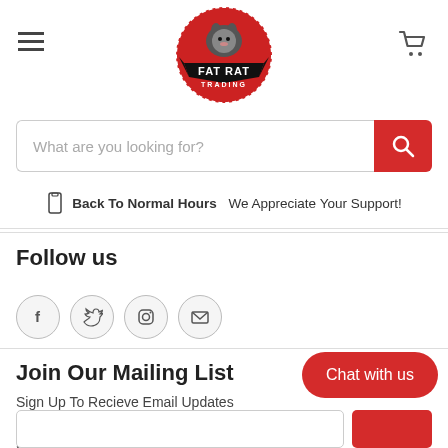[Figure (logo): Fat Rat Trading logo — circular red badge with a rat illustration and black banner reading FAT RAT TRADING]
What are you looking for?
Back To Normal Hours We Appreciate Your Support!
Follow us
[Figure (illustration): Social media icons: Facebook (f), Twitter (bird), Instagram (camera), Email (envelope) — each in a grey circle]
Join Our Mailing List
Sign Up To Recieve Email Updates On New Products, Events, Special Promotions, Sales And More.
Chat with us